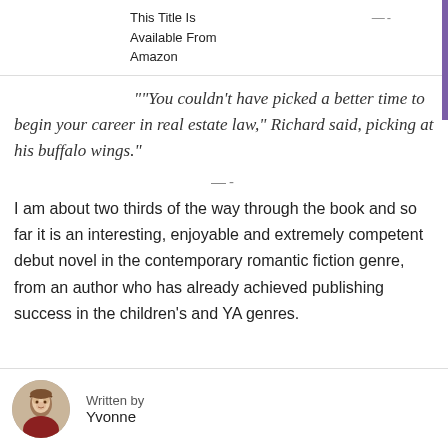This Title Is Available From Amazon
""You couldn't have picked a better time to begin your career in real estate law," Richard said, picking at his buffalo wings."
I am about two thirds of the way through the book and so far it is an interesting, enjoyable and extremely competent debut novel in the contemporary romantic fiction genre, from an author who has already achieved publishing success in the children's and YA genres.
Written by Yvonne